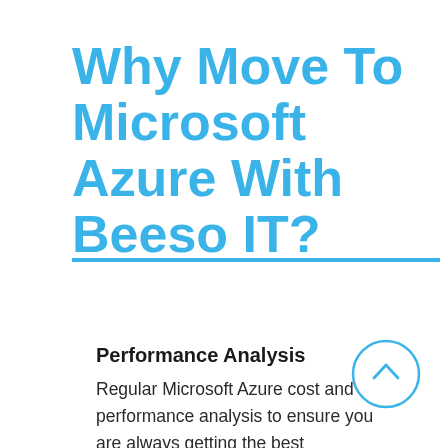Why Move To Microsoft Azure With Beeso IT?
Performance Analysis
Regular Microsoft Azure cost and performance analysis to ensure you are always getting the best performance at the lowest price